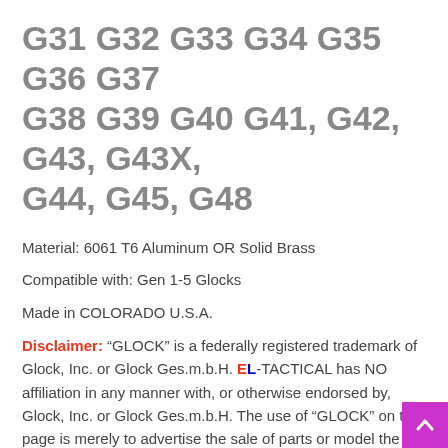G31 G32 G33 G34 G35 G36 G37 G38 G39 G40 G41, G42, G43, G43X, G44, G45, G48
Material: 6061 T6 Aluminum OR Solid Brass
Compatible with: Gen 1-5 Glocks
Made in COLORADO U.S.A.
Disclaimer: “GLOCK” is a federally registered trademark of Glock, Inc. or Glock Ges.m.b.H. EL-TACTICAL has NO affiliation in any manner with, or otherwise endorsed by, Glock, Inc. or Glock Ges.m.b.H. The use of “GLOCK” on this page is merely to advertise the sale of parts or model the components work with.